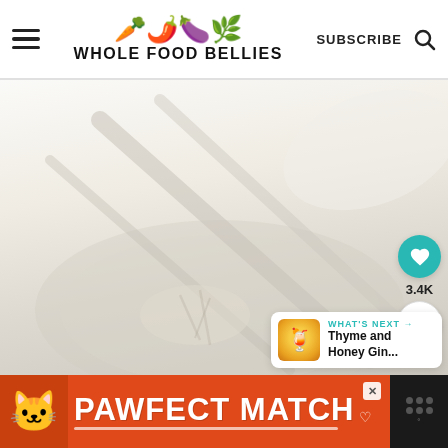WHOLE FOOD BELLIES | SUBSCRIBE
[Figure (photo): Overhead/close-up photo of a white bowl or plate with food (appears to be a soup or noodle dish with fresh herbs), set on a light surface with utensils visible. Image is washed out/very light.]
3.4K
WHAT'S NEXT → Thyme and Honey Gin...
[Figure (infographic): Advertisement banner: PAWFECT MATCH with cat image on orange/red background and a logo on black background on the right side.]